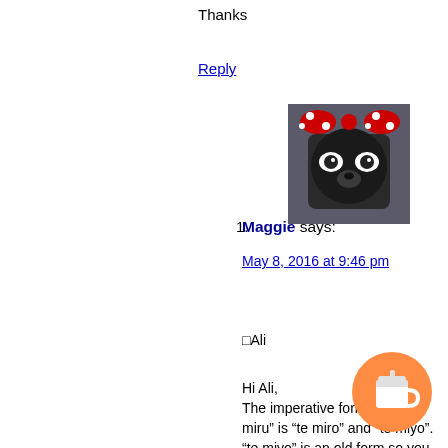Thanks
Reply
[Figure (photo): Avatar photo of a black dog (French Bulldog) wearing a red polka-dot Minnie Mouse bow]
1. Maggie says: May 8, 2016 at 9:46 pm

ØAli

Hi Ali,
The imperative form of “te miru” is “te miro” and “te miyo”. “te miyo” is an old form so you may hear/see it in historical stories, Samurai drama, etc.
Reply
[Figure (photo): Avatar photo showing a small figurine (Danbo robot box figure) sitting on a mossy rock outdoors]
16. Mori says: July 1, 2015 at 3:52 pm

Hello Maggie-sensei~! I’ve been using this site as a reference for a while, but looking at this lesson, I
[Figure (other): Orange circular button with a white coffee cup to-go icon (Buy Me a Coffee widget)]